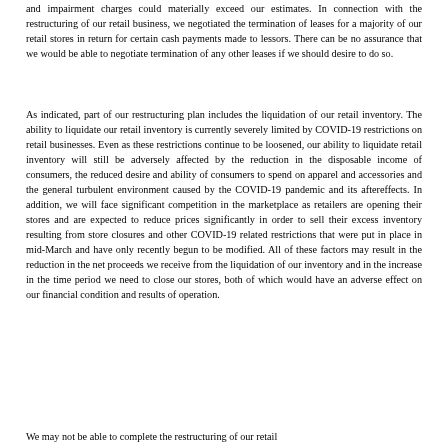and impairment charges could materially exceed our estimates. In connection with the restructuring of our retail business, we negotiated the termination of leases for a majority of our retail stores in return for certain cash payments made to lessors. There can be no assurance that we would be able to negotiate termination of any other leases if we should desire to do so.
As indicated, part of our restructuring plan includes the liquidation of our retail inventory. The ability to liquidate our retail inventory is currently severely limited by COVID-19 restrictions on retail businesses. Even as these restrictions continue to be loosened, our ability to liquidate retail inventory will still be adversely affected by the reduction in the disposable income of consumers, the reduced desire and ability of consumers to spend on apparel and accessories and the general turbulent environment caused by the COVID-19 pandemic and its aftereffects. In addition, we will face significant competition in the marketplace as retailers are opening their stores and are expected to reduce prices significantly in order to sell their excess inventory resulting from store closures and other COVID-19 related restrictions that were put in place in mid-March and have only recently begun to be modified. All of these factors may result in the reduction in the net proceeds we receive from the liquidation of our inventory and in the increase in the time period we need to close our stores, both of which would have an adverse effect on our financial condition and results of operation.
We may not be able to complete the restructuring of our retail